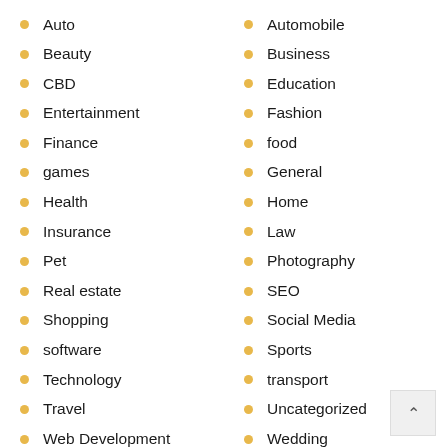Auto
Beauty
CBD
Entertainment
Finance
games
Health
Insurance
Pet
Real estate
Shopping
software
Technology
Travel
Web Development
Automobile
Business
Education
Fashion
food
General
Home
Law
Photography
SEO
Social Media
Sports
transport
Uncategorized
Wedding